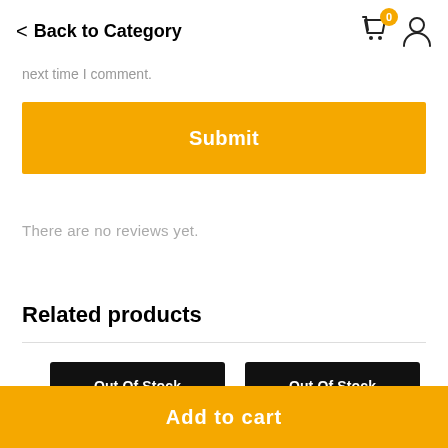Back to Category
next time I comment.
Submit
There are no reviews yet.
Related products
Out Of Stock
Out Of Stock
Add to cart